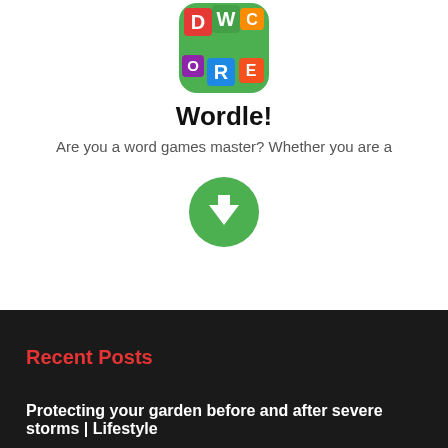[Figure (logo): Wordle app icon — colorful letter tiles on green background with W in center]
Wordle!
Are you a word games master? Whether you are a
[Figure (other): Green circular download button with white downward arrow icon]
AD
Recent Posts
Protecting your garden before and after severe storms | Lifestyle